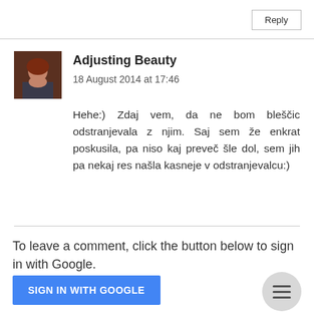Reply
[Figure (photo): Avatar photo of a woman with red hair]
Adjusting Beauty
18 August 2014 at 17:46
Hehe:) Zdaj vem, da ne bom bleščic odstranjevala z njim. Saj sem že enkrat poskusila, pa niso kaj preveč šle dol, sem jih pa nekaj res našla kasneje v odstranjevalcu:)
To leave a comment, click the button below to sign in with Google.
SIGN IN WITH GOOGLE